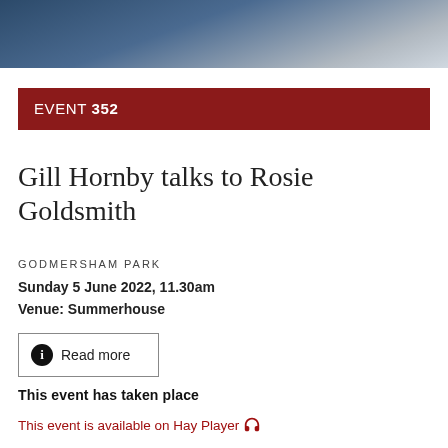[Figure (photo): Partial photo of a person wearing a dark blue top, cropped at top of page]
EVENT 352
Gill Hornby talks to Rosie Goldsmith
GODMERSHAM PARK
Sunday 5 June 2022, 11.30am
Venue: Summerhouse
Read more
This event has taken place
This event is available on Hay Player